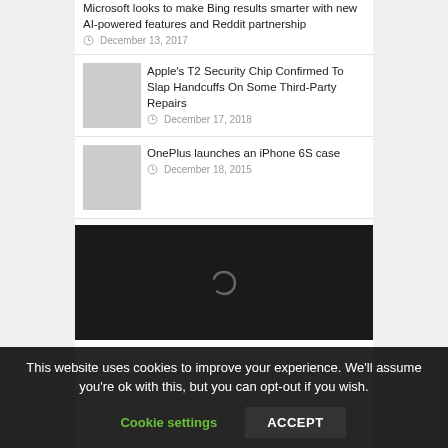Microsoft looks to make Bing results smarter with new AI-powered features and Reddit partnership
Apple's T2 Security Chip Confirmed To Slap Handcuffs On Some Third-Party Repairs
OnePlus launches an iPhone 6S case
[Figure (other): Dark video player area with a loading spinner (C-shaped arc) in the center]
This website uses cookies to improve your experience. We'll assume you're ok with this, but you can opt-out if you wish.
Cookie settings   ACCEPT